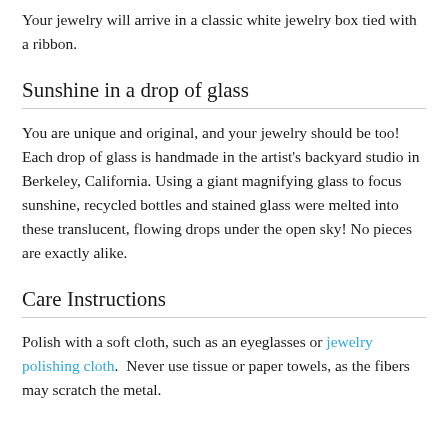Your jewelry will arrive in a classic white jewelry box tied with a ribbon.
Sunshine in a drop of glass
You are unique and original, and your jewelry should be too! Each drop of glass is handmade in the artist's backyard studio in Berkeley, California. Using a giant magnifying glass to focus sunshine, recycled bottles and stained glass were melted into these translucent, flowing drops under the open sky! No pieces are exactly alike.
Care Instructions
Polish with a soft cloth, such as an eyeglasses or jewelry polishing cloth.  Never use tissue or paper towels, as the fibers may scratch the metal.